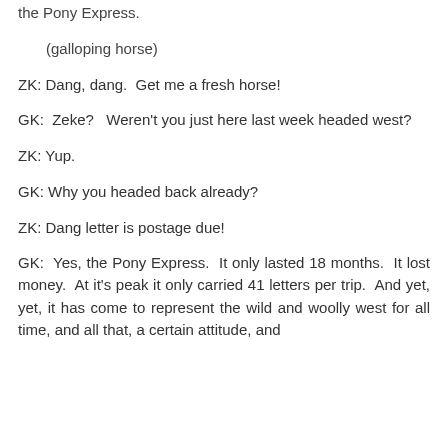the Pony Express.
(galloping horse)
ZK: Dang, dang.  Get me a fresh horse!
GK: Zeke?  Weren't you just here last week headed west?
ZK: Yup.
GK: Why you headed back already?
ZK: Dang letter is postage due!
GK: Yes, the Pony Express.  It only lasted 18 months.  It lost money.  At it's peak it only carried 41 letters per trip.  And yet, yet, it has come to represent the wild and woolly west for all time, and all that, a certain attitude, and